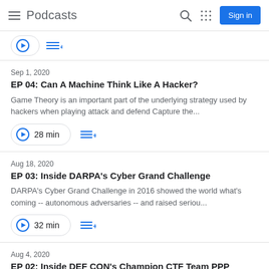Podcasts — Sign in
Sep 1, 2020
EP 04: Can A Machine Think Like A Hacker?
Game Theory is an important part of the underlying strategy used by hackers when playing attack and defend Capture the...
28 min
Aug 18, 2020
EP 03: Inside DARPA's Cyber Grand Challenge
DARPA's Cyber Grand Challenge in 2016 showed the world what's coming -- autonomous adversaries -- and raised seriou...
32 min
Aug 4, 2020
EP 02: Inside DEF CON's Champion CTF Team PPP